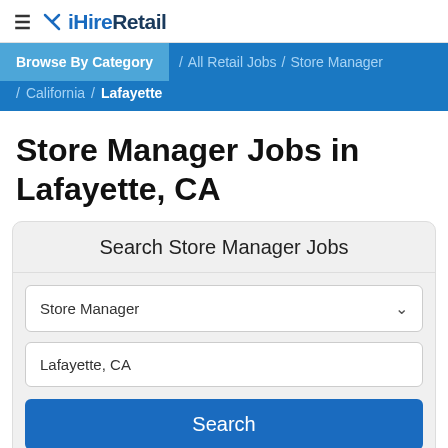≡ ✕ iHireRetail
Browse By Category / All Retail Jobs / Store Manager / California / Lafayette
Store Manager Jobs in Lafayette, CA
Search Store Manager Jobs
Store Manager [dropdown]
Lafayette, CA [input]
Search [button]